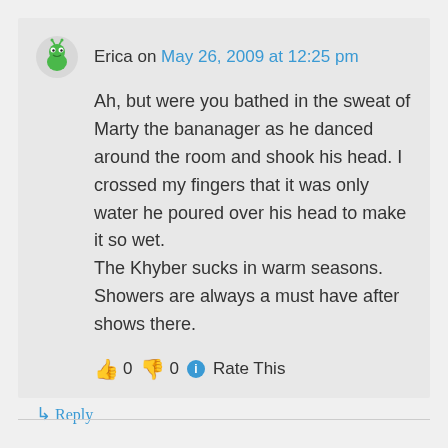Erica on May 26, 2009 at 12:25 pm
Ah, but were you bathed in the sweat of Marty the bananager as he danced around the room and shook his head. I crossed my fingers that it was only water he poured over his head to make it so wet.
The Khyber sucks in warm seasons. Showers are always a must have after shows there.
👍 0 👎 0 ℹ Rate This
↳ Reply